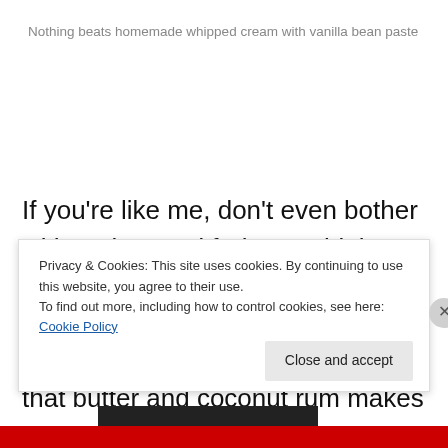Nothing beats homemade whipped cream with vanilla bean paste
If you're like me, don't even bother with a plate and fork. Just blob on some whipped cream and eat it with your fingers. The toasted pecans and coconut paired with all that butter and coconut rum makes these dreamy. But the addition of the chocolate-covered cocoa nibs pushed this
Privacy & Cookies: This site uses cookies. By continuing to use this website, you agree to their use.
To find out more, including how to control cookies, see here: Cookie Policy
Close and accept